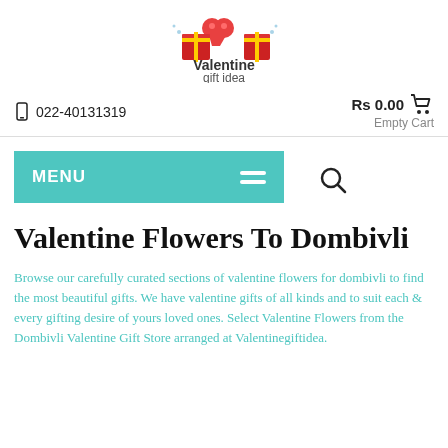[Figure (logo): Valentine Gift Idea logo with heart characters and wrapped gift boxes]
022-40131319
Rs 0.00  Empty Cart
[Figure (other): Teal MENU navigation bar with hamburger icon and search icon]
Valentine Flowers To Dombivli
Browse our carefully curated sections of valentine flowers for dombivli to find the most beautiful gifts. We have valentine gifts of all kinds and to suit each & every gifting desire of yours loved ones. Select Valentine Flowers from the Dombivli Valentine Gift Store arranged at Valentinegiftidea.